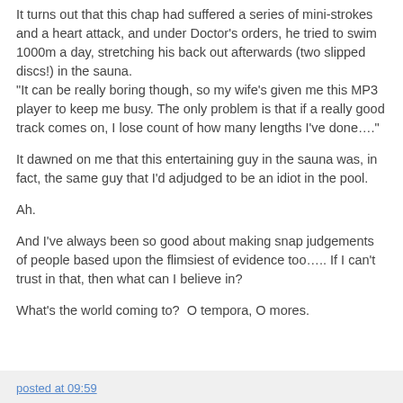It turns out that this chap had suffered a series of mini-strokes and a heart attack, and under Doctor's orders, he tried to swim 1000m a day, stretching his back out afterwards (two slipped discs!) in the sauna.
"It can be really boring though, so my wife's given me this MP3 player to keep me busy. The only problem is that if a really good track comes on, I lose count of how many lengths I've done…."
It dawned on me that this entertaining guy in the sauna was, in fact, the same guy that I'd adjudged to be an idiot in the pool.
Ah.
And I've always been so good about making snap judgements of people based upon the flimsiest of evidence too….. If I can't trust in that, then what can I believe in?
What's the world coming to?  O tempora, O mores.
posted at 09:59